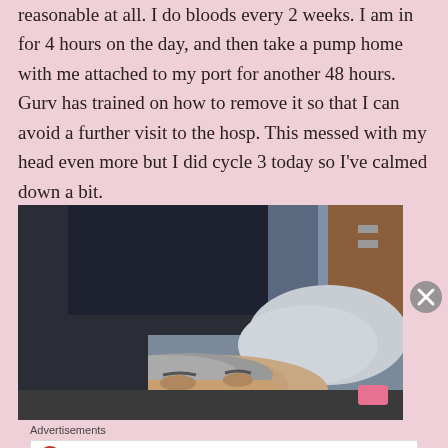reasonable at all. I do bloods every 2 weeks. I am in for 4 hours on the day, and then take a pump home with me attached to my port for another 48 hours. Gurv has trained on how to remove it so that I can avoid a further visit to the hosp. This messed with my head even more but I did cycle 3 today so I've calmed down a bit.
[Figure (photo): A person lying down, photographed from above/side angle, wearing dark clothing, with short grey hair visible, resting on what appears to be a bed or chair with a pillow and wooden furniture in background.]
Advertisements
[Figure (other): Longreads advertisement: logo circle with L, text 'LONGREADS', subtext 'Bringing you the best stories on the web since 2009.']